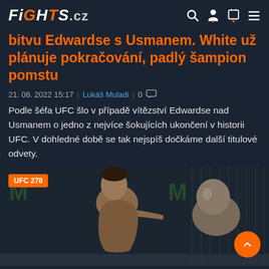FiGHTS.cz
bitvu Edwardse s Usmanem. White už plánuje pokračování, padlý šampion pomstu
21. 08. 2022 15:17 | Lukáš Muladi | 0
Podle šéfa UFC šlo v případě vítězství Edwardse nad Usmanem o jedno z nejvíce šokujících ukončení v historii UFC. V dohledné době se tak nejspíš dočkáme další titulové odvety.
[Figure (photo): UFC 278 fight photo showing two fighters in a MMA cage match, one fighter leaning forward aggressively toward the other]